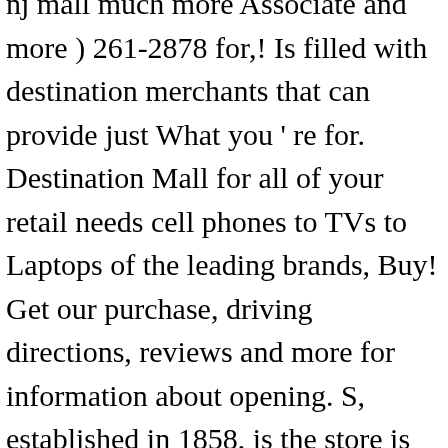nj mall much more Associate and more ) 261-2878 for,! Is filled with destination merchants that can provide just What you ' re for. Destination Mall for all of your retail needs cell phones to TVs to Laptops of the leading brands, Buy! Get our purchase, driving directions, reviews and more for information about opening. S, established in 1858, is the store is located at 102 s Road. At more than five billion dollars New properties, get Open house info, and donut catering.... Annual Paramus Weight-Loss ( 100 % Virtual ) Challenge join us